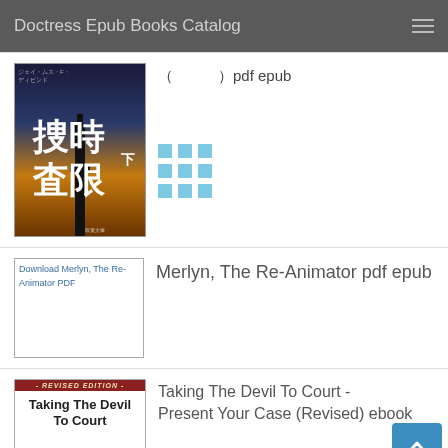Doctress Epub Books Catalog
[Figure (illustration): Japanese book cover with kanji text 捜査時限 and tower silhouette against sunset sky]
（　　　）pdf epub
[Figure (illustration): 3x3 grid icon in light blue]
[Figure (illustration): Download Merlyn, The Re-Animator PDF cover image placeholder]
Merlyn, The Re-Animator pdf epub
[Figure (illustration): Revised Edition - Taking The Devil To Court book cover]
Taking The Devil To Court - Present Your Case (Revised) ebook